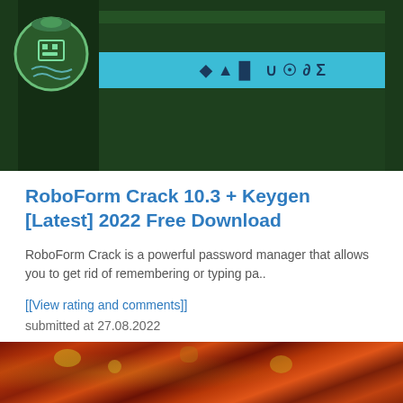[Figure (photo): Software product box with dark green background, a teal/cyan horizontal stripe with stylized text, and a circular logo on the left side]
RoboForm Crack 10.3 + Keygen [Latest] 2022 Free Download
RoboForm Crack is a powerful password manager that allows you to get rid of remembering or typing pa..
[[View rating and comments]]
submitted at 27.08.2022
[Figure (photo): Close-up macro photograph of insects or bugs on a reddish textured surface]